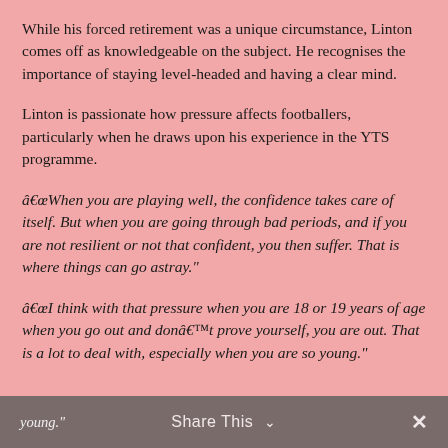While his forced retirement was a unique circumstance, Linton comes off as knowledgeable on the subject. He recognises the importance of staying level-headed and having a clear mind.
Linton is passionate how pressure affects footballers, particularly when he draws upon his experience in the YTS programme.
“When you are playing well, the confidence takes care of itself. But when you are going through bad periods, and if you are not resilient or not that confident, you then suffer. That is where things can go astray.”
“I think with that pressure when you are 18 or 19 years of age when you go out and don’t prove yourself, you are out. That is a lot to deal with, especially when you are so young.”
Share This